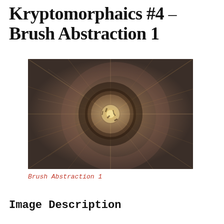Kryptomorphaics #4 – Brush Abstraction 1
[Figure (photo): Abstract radial blur photo resembling brushstrokes or fibers exploding outward from a central point, in muted brown, tan, and dark tones.]
Brush Abstraction 1
Image Description